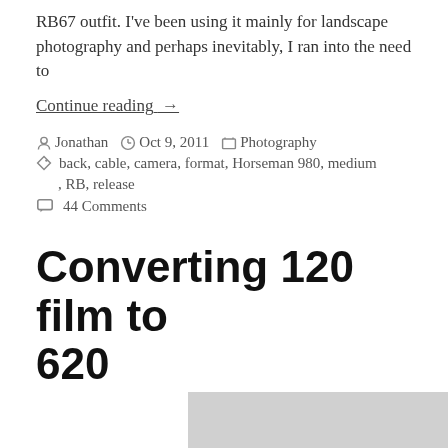RB67 outfit. I've been using it mainly for landscape photography and perhaps inevitably, I ran into the need to
Continue reading →
By Jonathan  Oct 9, 2011  Photography
back, cable, camera, format, Horseman 980, medium, RB, release
44 Comments
Converting 120 film to 620
[Figure (photo): Partial image at bottom right of page, light grey/white content]